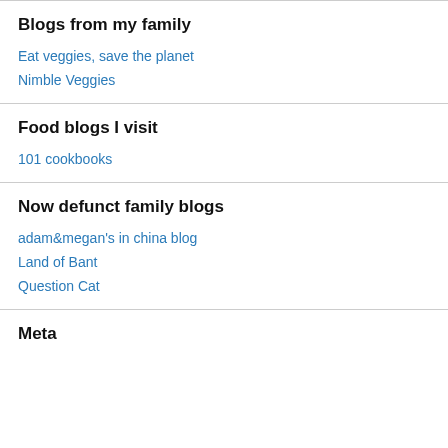Blogs from my family
Eat veggies, save the planet
Nimble Veggies
Food blogs I visit
101 cookbooks
Now defunct family blogs
adam&megan's in china blog
Land of Bant
Question Cat
Meta